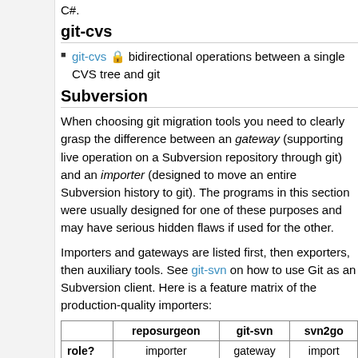C#.
git-cvs
git-cvs 🔒 bidirectional operations between a single CVS tree and git
Subversion
When choosing git migration tools you need to clearly grasp the difference between an gateway (supporting live operation on a Subversion repository through git) and an importer (designed to move an entire Subversion history to git). The programs in this section were usually designed for one of these purposes and may have serious hidden flaws if used for the other.
Importers and gateways are listed first, then exporters, then auxiliary tools. See git-svn on how to use Git as an Subversion client. Here is a feature matrix of the production-quality importers:
|  | reposurgeon | git-svn | svn2go |
| --- | --- | --- | --- |
| role? | importer | gateway | import |